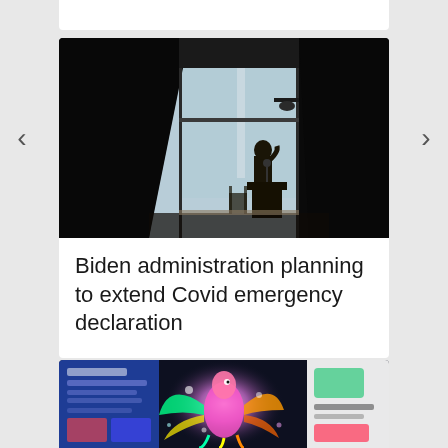[Figure (photo): Partial top of a white card, cut off at top of page]
[Figure (photo): Silhouette of President Biden at a podium with the Washington Monument visible through large windows, dramatically lit with dark surroundings]
Biden administration planning to extend Covid emergency declaration
[Figure (screenshot): Colorful digital artwork showing a glowing abstract bird/creature on a dark background, with tablet/app interfaces visible on sides — partially cut off at bottom]